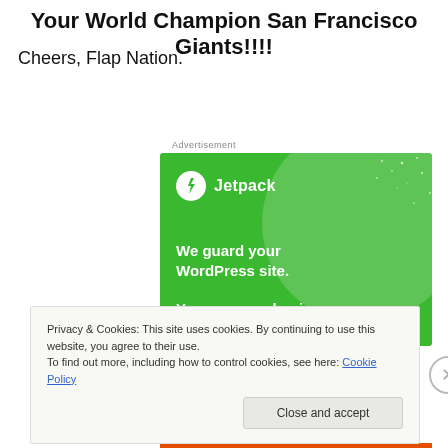Your World Champion San Francisco Giants!!!!
Cheers, Flap Nation.
Advertisement
[Figure (illustration): Jetpack advertisement banner on green background. Shows Jetpack logo (lightning bolt in circle) and text 'We guard your WordPress site. You run your business.']
Privacy & Cookies: This site uses cookies. By continuing to use this website, you agree to their use.
To find out more, including how to control cookies, see here: Cookie Policy
Close and accept